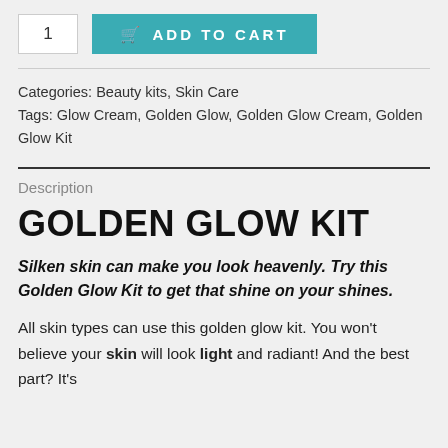1
ADD TO CART
Categories: Beauty kits, Skin Care
Tags: Glow Cream, Golden Glow, Golden Glow Cream, Golden Glow Kit
Description
GOLDEN GLOW KIT
Silken skin can make you look heavenly. Try this Golden Glow Kit to get that shine on your shines.
All skin types can use this golden glow kit. You won't believe your skin will look light and radiant! And the best part? It's